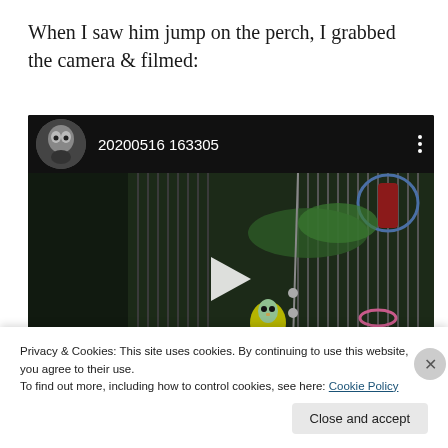When I saw him jump on the perch, I grabbed the camera & filmed:
[Figure (screenshot): Video thumbnail showing a budgerigar in a cage. The video header shows a circular avatar of a bird and the title '20200516 163305'. The video frame shows a dark image of a bird cage with a budgerigar visible, and a play button in the center.]
Privacy & Cookies: This site uses cookies. By continuing to use this website, you agree to their use.
To find out more, including how to control cookies, see here: Cookie Policy
Close and accept